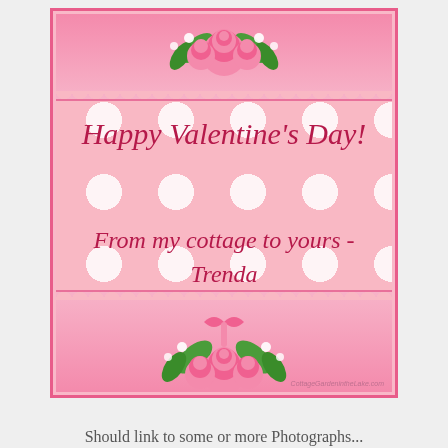[Figure (illustration): Valentine's Day greeting card with pink polka dot background, decorative floral arrangements at top and bottom with pink roses and green leaves, scalloped pink banners at top and bottom edges, and cursive crimson text reading 'Happy Valentine's Day!' and 'From my cottage to yours - Trenda'. Watermark: CottageGardenontheLake.com]
Should link to some or more Photographs...